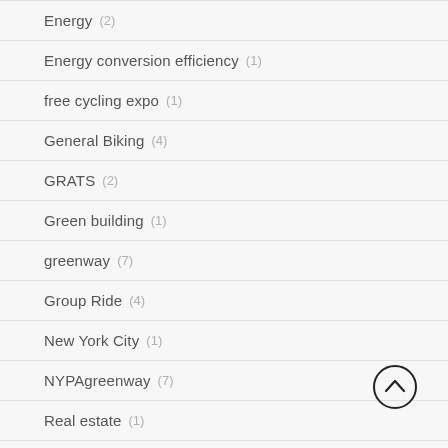Energy (2)
Energy conversion efficiency (1)
free cycling expo (1)
General Biking (4)
GRATS (2)
Green building (1)
greenway (7)
Group Ride (4)
New York City (1)
NYPAgreenway (7)
Real estate (1)
Renewable ...